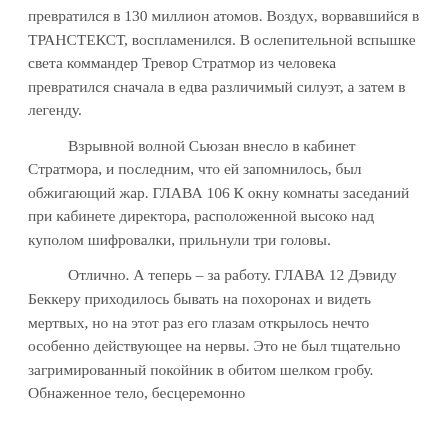превратился в 130 миллион атомов. Воздух, ворвавшийся в ТРАНСТЕКСТ, воспламенился. В ослепительной вспышке света коммандер Тревор Стратмор из человека превратился сначала в едва различимый силуэт, а затем в легенду.
Взрывной волной Сьюзан внесло в кабинет Стратмора, и последним, что ей запомнилось, был обжигающий жар. ГЛАВА 106 К окну комнаты заседаний при кабинете директора, расположенной высоко над куполом шифровалки, прильнули три головы.
Отлично. А теперь – за работу. ГЛАВА 12 Дэвиду Беккеру приходилось бывать на похоронах и видеть мертвых, но на этот раз его глазам открылось нечто особенно действующее на нервы. Это не был тщательно загримированный покойник в обитом шелком гробу. Обнаженное тело, бесцеремонно